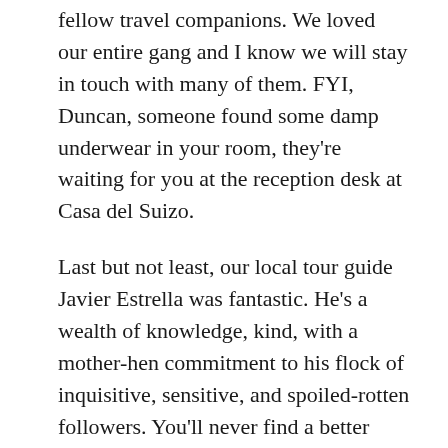fellow travel companions. We loved our entire gang and I know we will stay in touch with many of them. FYI, Duncan, someone found some damp underwear in your room, they're waiting for you at the reception desk at Casa del Suizo.
Last but not least, our local tour guide Javier Estrella was fantastic. He's a wealth of knowledge, kind, with a mother-hen commitment to his flock of inquisitive, sensitive, and spoiled-rotten followers. You'll never find a better person to spend 14 days without air conditioning. He also free-lances as a private guide, so if anyone is convinced that Ecuador might be perfect for their next adventure, his contact information is as follows: 59-398-007-5760.